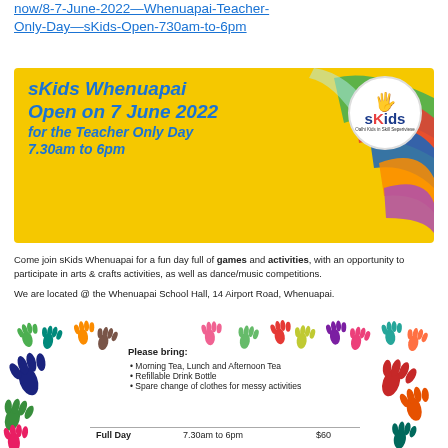now/8-7-June-2022—Whenuapai-Teacher-Only-Day—sKids-Open-730am-to-6pm
[Figure (infographic): sKids Whenuapai promotional banner with yellow background, colourful paint strokes, sKids logo circle in top right. Text reads: sKids Whenuapai Open on 7 June 2022 for the Teacher Only Day 7.30am to 6pm]
Come join sKids Whenuapai for a fun day full of games and activities, with an opportunity to participate in arts & crafts activities, as well as dance/music competitions.
We are located @ the Whenuapai School Hall, 14 Airport Road, Whenuapai.
[Figure (illustration): Colourful handprint illustrations arranged in a border/row around the please bring section]
Morning Tea, Lunch and Afternoon Tea
Refillable Drink Bottle
Spare change of clothes for messy activities
|  |  |  |
| --- | --- | --- |
| Full Day | 7.30am to 6pm | $60 |